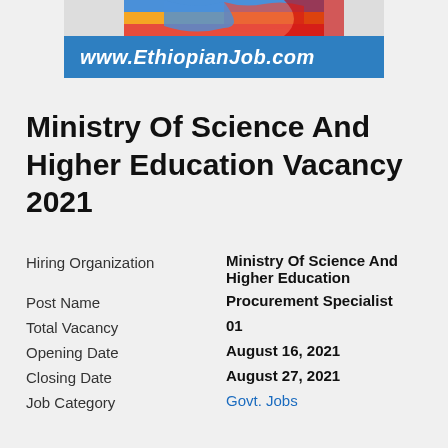[Figure (logo): EthiopianJob.com website logo banner with colored flag graphic on top and blue bar with www.EthiopianJob.com text]
Ministry Of Science And Higher Education Vacancy 2021
| Hiring Organization | Ministry Of Science And Higher Education |
| Post Name | Procurement Specialist |
| Total Vacancy | 01 |
| Opening Date | August 16, 2021 |
| Closing Date | August 27, 2021 |
| Job Category | Govt. Jobs |